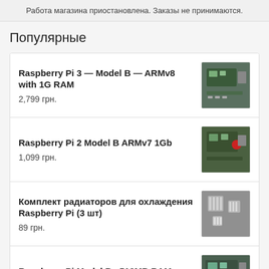Работа магазина приостановлена. Заказы не принимаются.
Популярные
Raspberry Pi 3 — Model B — ARMv8 with 1G RAM
2,799 грн.
Raspberry Pi 2 Model B ARMv7 1Gb
1,099 грн.
Комплект радиаторов для охлаждения Raspberry Pi (3 шт)
89 грн.
Raspberry Pi Model B+ 512MB RAM
2,992 грн.
12mm Diffused Flat Digital RGB LED Pixels (Strand of 25) — WS2801